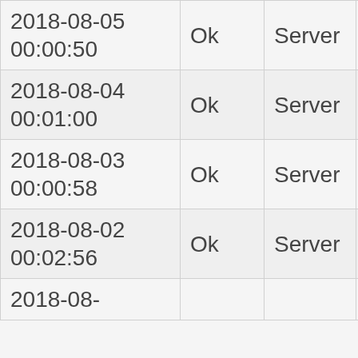| 2018-08-05 00:00:50 | Ok | Server | Archived |
| 2018-08-04 00:01:00 | Ok | Server | Archived |
| 2018-08-03 00:00:58 | Ok | Server | Archived |
| 2018-08-02 00:02:56 | Ok | Server | Archived |
| 2018-08-… |  |  |  |